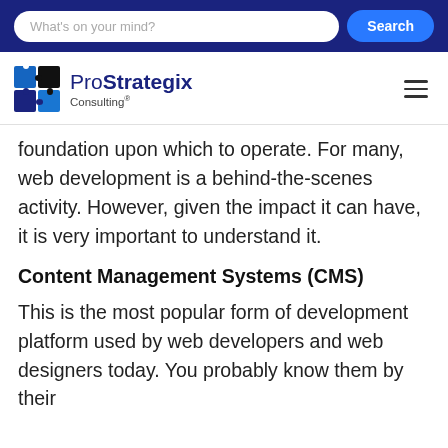What's on your mind? Search
[Figure (logo): ProStrategix Consulting logo with puzzle pieces icon]
foundation upon which to operate. For many, web development is a behind-the-scenes activity. However, given the impact it can have, it is very important to understand it.
Content Management Systems (CMS)
This is the most popular form of development platform used by web developers and web designers today. You probably know them by their